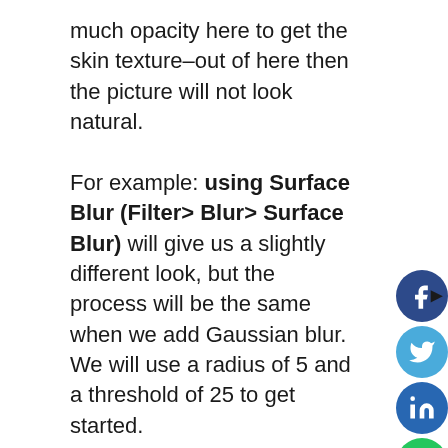much opacity here to get the skin texture–out of here then the picture will not look natural.

For example: using Surface Blur (Filter> Blur> Surface Blur) will give us a slightly different look, but the process will be the same when we add Gaussian blur. We will use a radius of 5 and a threshold of 25 to get started.
[Figure (other): Social media sharing buttons: Facebook (dark blue circle with f), Twitter (light blue circle with bird), LinkedIn (blue circle with in), WhatsApp (green circle with phone icon), and a right-pointing arrow below]